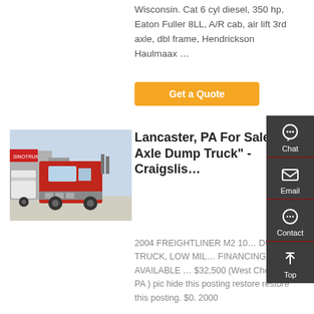Wisconsin. Cat 6 cyl diesel, 350 hp, Eaton Fuller 8LL, A/R cab, air lift 3rd axle, dbl frame, Hendrickson Haulmaax ...
Get a Quote
[Figure (photo): Red semi truck / tractor unit parked in a lot, with other white trucks visible in the background]
Lancaster, PA For Sale "Tri Axle Dump Truck" - Craigslis…
2004 FREIGHTLINER M2 10… DUMP TRUCK, LOW MIL… FINANCING AVAILABLE … $32,500 (West Chester PA ) pic hide this posting restore restore this posting. $0. 2000